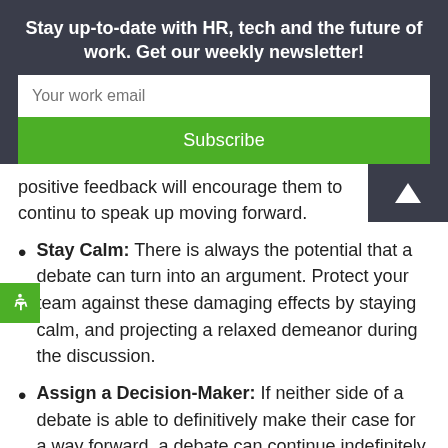Stay up-to-date with HR, tech and the future of work. Get our weekly newsletter!
Your work email
Subscribe
positive feedback will encourage them to continue to speak up moving forward.
Stay Calm: There is always the potential that a debate can turn into an argument. Protect your team against these damaging effects by staying calm, and projecting a relaxed demeanor during the discussion.
Assign a Decision-Maker: If neither side of a debate is able to definitively make their case for a way forward, a debate can continue indefinitely. Avoid this situation by ensuring that someone fills the role of decision-maker during these discussions. Even